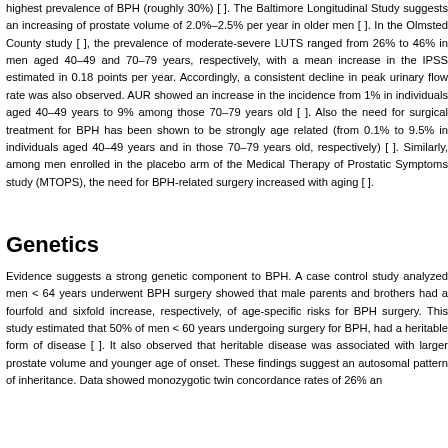highest prevalence of BPH (roughly 30%) [ ]. The Baltimore Longitudinal Study suggests an increasing of prostate volume of 2.0%–2.5% per year in older men [ ]. In the Olmsted County study [ ], the prevalence of moderate-severe LUTS ranged from 26% to 46% in men aged 40–49 and 70–79 years, respectively, with a mean increase in the IPSS estimated in 0.18 points per year. Accordingly, a consistent decline in peak urinary flow rate was also observed. AUR showed an increase in the incidence from 1% in individuals aged 40–49 years to 9% among those 70–79 years old [ ]. Also the need for surgical treatment for BPH has been shown to be strongly age related (from 0.1% to 9.5% in individuals aged 40–49 years and in those 70–79 years old, respectively) [ ]. Similarly, among men enrolled in the placebo arm of the Medical Therapy of Prostatic Symptoms study (MTOPS), the need for BPH-related surgery increased with aging [ ].
Genetics
Evidence suggests a strong genetic component to BPH. A case control study analyzed men < 64 years underwent BPH surgery showed that male parents and brothers had a fourfold and sixfold increase, respectively, of age-specific risks for BPH surgery. This study estimated that 50% of men < 60 years undergoing surgery for BPH, had a heritable form of disease [ ]. It also observed that heritable disease was associated with larger prostate volume and younger age of onset. These findings suggest an autosomal pattern of inheritance. Data showed monozygotic twin concordance rates of 26% and